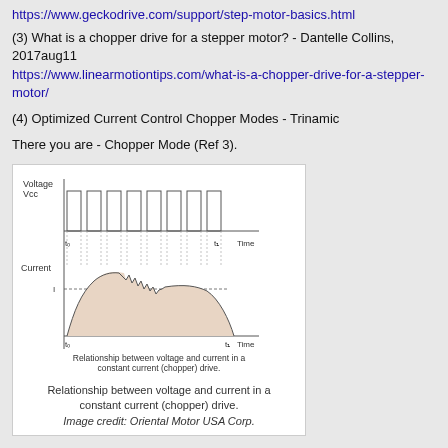https://www.geckodrive.com/support/step-motor-basics.html
(3) What is a chopper drive for a stepper motor? - Dantelle Collins, 2017aug11
https://www.linearmotiontips.com/what-is-a-chopper-drive-for-a-stepper-motor/
(4) Optimized Current Control Chopper Modes - Trinamic
There you are - Chopper Mode (Ref 3).
[Figure (continuous-plot): Diagram showing relationship between voltage and current in a constant current (chopper) drive. Top plot shows Voltage (Vcc) as rectangular pulses over time. Bottom plot shows Current (I) as a bell-shaped envelope with ripple, rising and then falling. Caption: Relationship between voltage and current in a constant current (chopper) drive. Image credit: Oriental Motor USA Corp.]
Yes, tmc2160 or tmc2130 is very complicated, using SPI/UART control. But tmc2130 without the external mosfet switches is very small, not bigger than drv8833.
Ah, I never knew that drv8801 is 5 times cheaper than drv8833, because I am only doing one off prototyping, hoping to learn some new stuff. If one day I am going to make perhaps 500 robots to make some money, of course I will components as cheap as possible, so to make as big money as possible. :)
I am using Rpi Pico because it is cheap (US$4), and it has a lot of PWM pins, and also two ADC pins, so is good for testing, not to worry it falling down a cliff or a cave.
Ah, almost bed time. So see you over the weekend. Cheers.
Sandro  2:24 PM
Why all those resources about stepper motors? (Excepted if you know a stepper motor